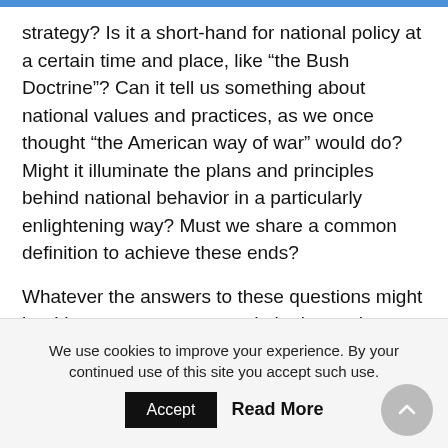strategy? Is it a short-hand for national policy at a certain time and place, like “the Bush Doctrine”? Can it tell us something about national values and practices, as we once thought “the American way of war” would do? Might it illuminate the plans and principles behind national behavior in a particularly enlightening way? Must we share a common definition to achieve these ends?
Whatever the answers to these questions might be, I hasten to repeat my admiration and appreciation for this significant contribution to our understanding of “grand strategy.” Like the
We use cookies to improve your experience. By your continued use of this site you accept such use.